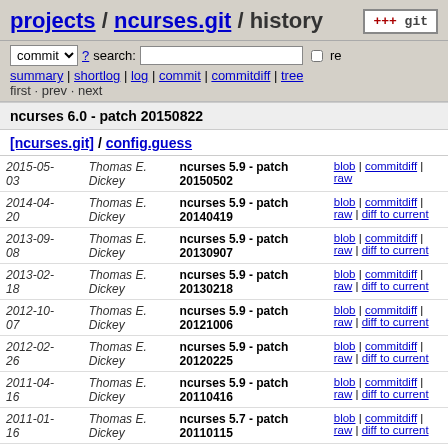projects / ncurses.git / history
ncurses 6.0 - patch 20150822
[ncurses.git] / config.guess
| Date | Author | Commit | Links |
| --- | --- | --- | --- |
| 2015-05-03 | Thomas E. Dickey | ncurses 5.9 - patch 20150502 | blob | commitdiff | raw |
| 2014-04-20 | Thomas E. Dickey | ncurses 5.9 - patch 20140419 | blob | commitdiff | raw | diff to current |
| 2013-09-08 | Thomas E. Dickey | ncurses 5.9 - patch 20130907 | blob | commitdiff | raw | diff to current |
| 2013-02-18 | Thomas E. Dickey | ncurses 5.9 - patch 20130218 | blob | commitdiff | raw | diff to current |
| 2012-10-07 | Thomas E. Dickey | ncurses 5.9 - patch 20121006 | blob | commitdiff | raw | diff to current |
| 2012-02-26 | Thomas E. Dickey | ncurses 5.9 - patch 20120225 | blob | commitdiff | raw | diff to current |
| 2011-04-16 | Thomas E. Dickey | ncurses 5.9 - patch 20110416 | blob | commitdiff | raw | diff to current |
| 2011-01-16 | Thomas E. Dickey | ncurses 5.7 - patch 20110115 | blob | commitdiff | raw | diff to current |